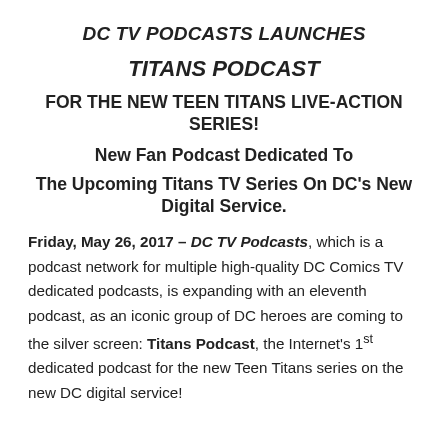DC TV PODCASTS LAUNCHES
TITANS PODCAST
FOR THE NEW TEEN TITANS LIVE-ACTION SERIES!
New Fan Podcast Dedicated To
The Upcoming Titans TV Series On DC's New Digital Service.
Friday, May 26, 2017 – DC TV Podcasts, which is a podcast network for multiple high-quality DC Comics TV dedicated podcasts, is expanding with an eleventh podcast, as an iconic group of DC heroes are coming to the silver screen: Titans Podcast, the Internet's 1st dedicated podcast for the new Teen Titans series on the new DC digital service!